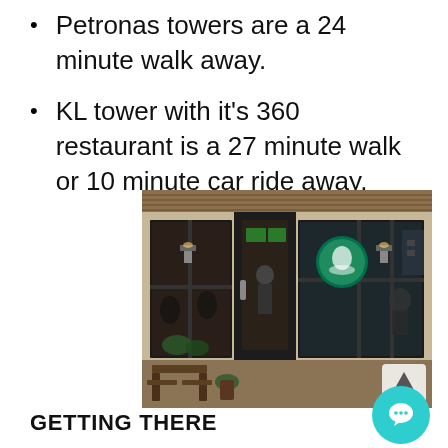Petronas towers are a 24 minute walk away.
KL tower with it's 360 restaurant is a 27 minute walk or 10 minute car ride away.
[Figure (photo): Exterior photo of a Starbucks coffee shop at night, showing large glass windows and doors with people inside, and the Starbucks logo visible through the glass.]
GETTING THERE